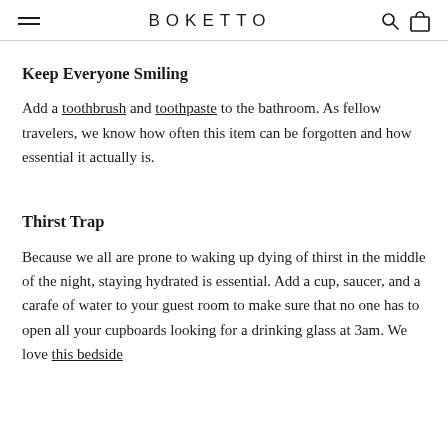BOKETTO
Keep Everyone Smiling
Add a toothbrush and toothpaste to the bathroom. As fellow travelers, we know how often this item can be forgotten and how essential it actually is.
Thirst Trap
Because we all are prone to waking up dying of thirst in the middle of the night, staying hydrated is essential. Add a cup, saucer, and a carafe of water to your guest room to make sure that no one has to open all your cupboards looking for a drinking glass at 3am. We love this bedside